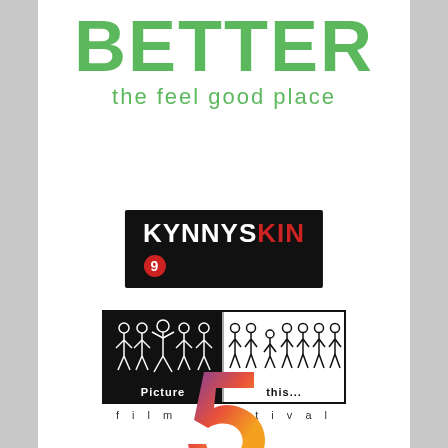[Figure (logo): BETTER the feel good place logo in green text]
[Figure (logo): KYNNYS KIN9 logo, white and red text on black background with number 9 in red circle]
[Figure (logo): Picture This film festival logo showing stick figures in black and white panels]
[Figure (logo): Partial number 5 logo with gradient colors purple to orange at bottom of page]